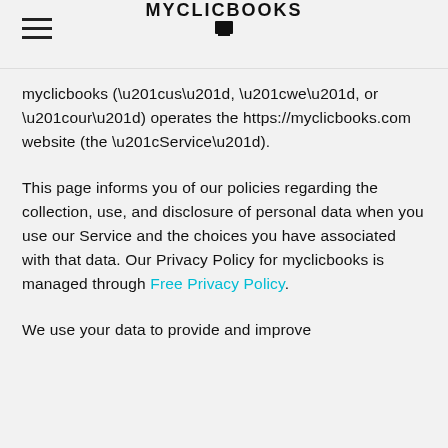MYCLICBOOKS
myclicbooks (“us”, “we”, or “our”) operates the https://myclicbooks.com website (the “Service”).
This page informs you of our policies regarding the collection, use, and disclosure of personal data when you use our Service and the choices you have associated with that data. Our Privacy Policy for myclicbooks is managed through Free Privacy Policy.
We use your data to provide and improve